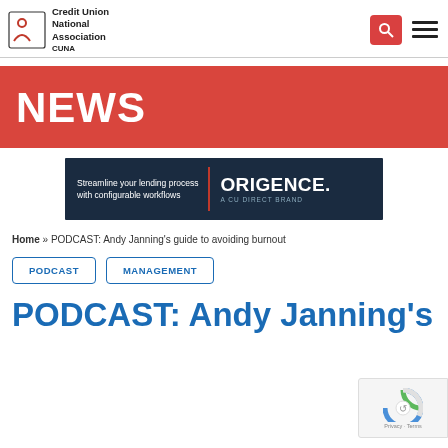Credit Union National Association — CUNA
[Figure (logo): CUNA Credit Union National Association logo with stylized figure icon]
NEWS
[Figure (infographic): Origence advertisement: Streamline your lending process with configurable workflows — ORIGENCE, A CU DIRECT BRAND]
Home » PODCAST: Andy Janning's guide to avoiding burnout
PODCAST
MANAGEMENT
PODCAST: Andy Janning's guide to avoiding burnout